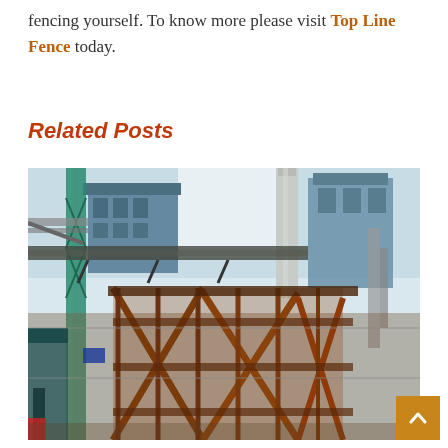fencing yourself. To know more please visit Top Line Fence today.
Related Posts
[Figure (photo): Construction site photo showing industrial structures with metal scaffolding, wooden cross-braced frames, pipes, and large blue industrial buildings in the background.]